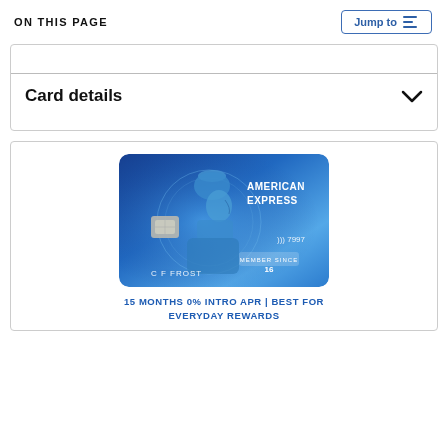ON THIS PAGE
Card details
[Figure (photo): American Express Blue Cash Everyday credit card showing the Centurion figure in blue, card number ending 7997, member name C F FROST, member since 16, and American Express logo]
15 MONTHS 0% INTRO APR | BEST FOR EVERYDAY REWARDS